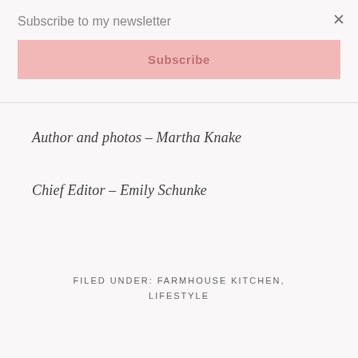Subscribe to my newsletter
Subscribe
Author and photos – Martha Knake
Chief Editor – Emily Schunke
FILED UNDER: FARMHOUSE KITCHEN, LIFESTYLE